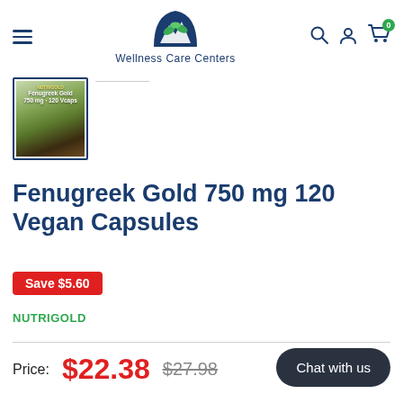Wellness Care Centers — navigation header with hamburger menu, logo, search, account, and cart icons
[Figure (photo): Product thumbnail image of Fenugreek Gold supplement package with dark green and brown tones, shown with a teal border]
Fenugreek Gold 750 mg 120 Vegan Capsules
Save $5.60
NUTRIGOLD
Price: $22.38  $27.98
Chat with us